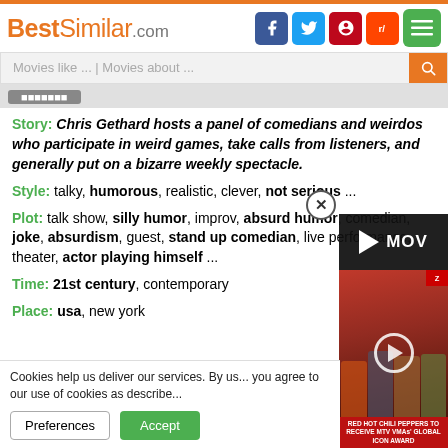BestSimilar.com
Movies like ... | Movies about ...
Story: Chris Gethard hosts a panel of comedians and weirdos who participate in weird games, take calls from listeners, and generally put on a bizarre weekly spectacle.
Style: talky, humorous, realistic, clever, not serious ...
Plot: talk show, silly humor, improv, absurd humor, comedian, joke, absurdism, guest, stand up comedian, live performance, theater, actor playing himself ...
Time: 21st century, contemporary
Place: usa, new york
Cookies help us deliver our services. By us... you agree to our use of cookies as describe...
[Figure (screenshot): Video player strip showing MOV text and Red Hot Chili Peppers photo with caption RED HOT CHILI PEPPERS TO RECEIVE MTV VMAs GLOBAL ICON AWARD]